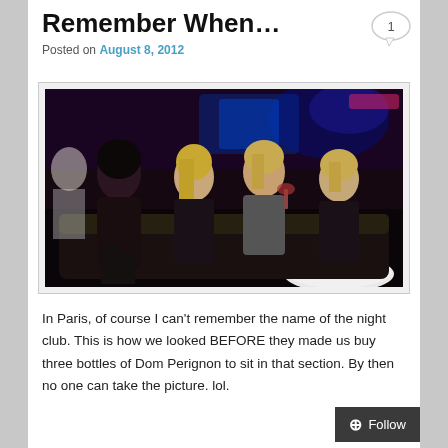Remember When…
Posted on August 8, 2012
[Figure (photo): Four women posing together in a nightclub, sitting on a black couch. Dark nightclub setting with colored lights in the background. A white bowl with red cherries is visible in the foreground.]
In Paris, of course I can't remember the name of the night club. This is how we looked BEFORE they made us buy three bottles of Dom Perignon to sit in that section. By then no one can take the picture. lol.